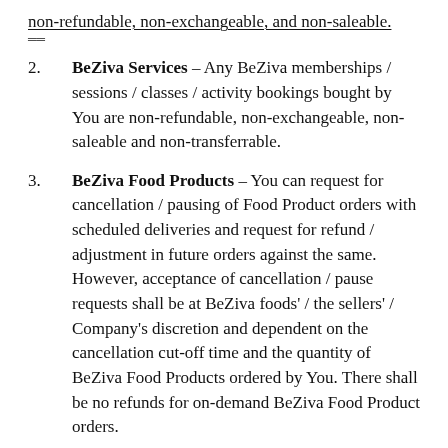non-refundable, non-exchangeable, and non-saleable.
2.      BeZiva Services – Any BeZiva memberships / sessions / classes / activity bookings bought by You are non-refundable, non-exchangeable, non-saleable and non-transferrable.
3.      BeZiva Food Products – You can request for cancellation / pausing of Food Product orders with scheduled deliveries and request for refund / adjustment in future orders against the same. However, acceptance of cancellation / pause requests shall be at BeZiva foods' / the sellers' / Company's discretion and dependent on the cancellation cut-off time and the quantity of BeZiva Food Products ordered by You. There shall be no refunds for on-demand BeZiva Food Product orders.
4.      BeZiva Services – In the event of permitted / BeZiva cancellations, refunds shall be made within 7-